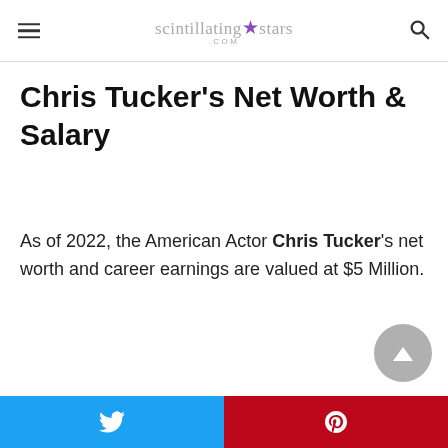scintillating★stars.com
Chris Tucker's Net Worth & Salary
As of 2022, the American Actor Chris Tucker's net worth and career earnings are valued at $5 Million.
Twitter | Pinterest